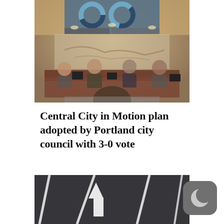[Figure (photo): A city council meeting room with officials seated at a curved dais. A projection screen at front shows donut charts. The room has recessed lighting and decorative wall art.]
Central City in Motion plan adopted by Portland city council with 3-0 vote
[Figure (photo): A close-up of dark asphalt road with white painted lane markings and a white upward-pointing arrow in the center lane.]
[Figure (illustration): Dark gray rounded square icon with a white crescent moon symbol, representing a night/dark mode toggle button.]